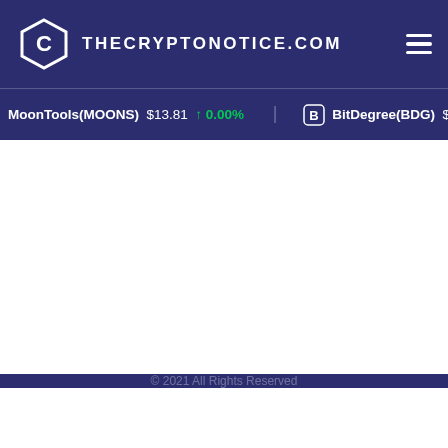THECRYPTONOTICE.COM
MoonTools(MOONS) $13.81 ↑ 0.00%    BitDegree(BDG) $0.001507
© TheCryptoNotice.com • All Rights Reserved • Terms • Privacy • DMCA • Contact Us • Unsubscribe
Follow Us
[Figure (illustration): Facebook, Twitter, and LinkedIn social media icons in white rounded square boxes]
© 2021 All Rights Reserved